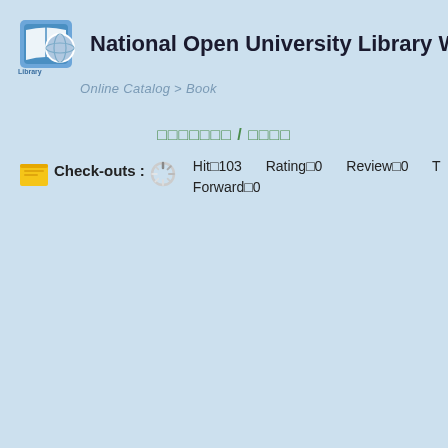National Open University Library W
Online Catalog > Book
□□□□□□□ / □□□□
Check-outs : [spinner] Hit□103   Rating□0   Review□0   T  Forward□0